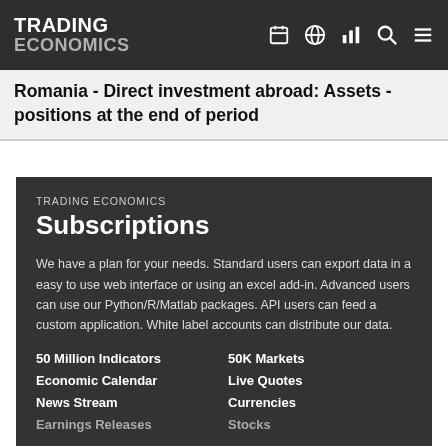TRADING ECONOMICS
Romania - Direct investment abroad: Assets - positions at the end of period
TRADING ECONOMICS
Subscriptions
We have a plan for your needs. Standard users can export data in a easy to use web interface or using an excel add-in. Advanced users can use our Python/R/Matlab packages. API users can feed a custom application. White label accounts can distribute our data.
50 Million Indicators    50K Markets
Economic Calendar    Live Quotes
News Stream    Currencies
Earnings Releases    Stocks